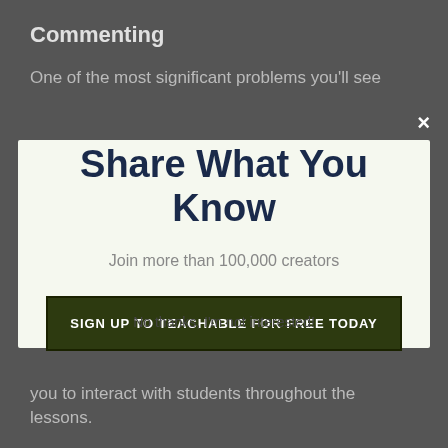Commenting
One of the most significant problems you'll see
Share What You Know
Join more than 100,000 creators
SIGN UP TO TEACHABLE FOR FREE TODAY
No thanks, I'm not interested!
you to interact with students throughout the lessons.